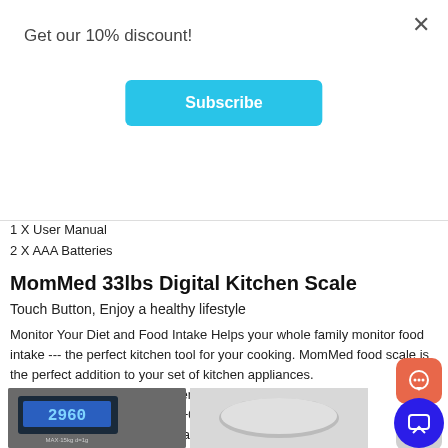Get our 10% discount!
Subscribe
1 X User Manual
2 X AAA Batteries
MomMed 33lbs Digital Kitchen Scale
Touch Button, Enjoy a healthy lifestyle
Monitor Your Diet and Food Intake Helps your whole family monitor food intake --- the perfect kitchen tool for your cooking. MomMed food scale is the perfect addition to your set of kitchen appliances.
The minimum weight recommendation is 2g-3g
Acceptable Tolerance: +/- 3‰+0.1oz/1g
Use the scale on a hard and flat surface
Don't put the scale in water
High Performance
[Figure (photo): Digital kitchen scale display showing 2960 reading, MAX 15kg]